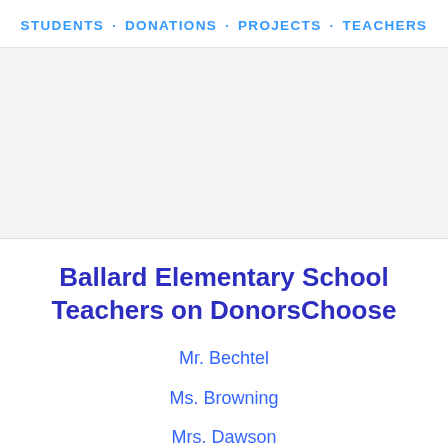STUDENTS · DONATIONS · PROJECTS · TEACHERS
Ballard Elementary School Teachers on DonorsChoose
Mr. Bechtel
Ms. Browning
Mrs. Dawson